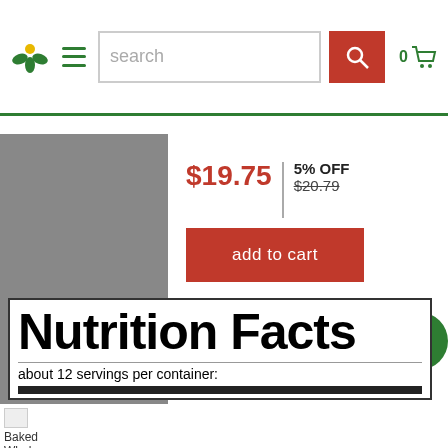[Figure (screenshot): Website header navigation bar with green logo, hamburger menu, search bar, and cart icon showing 0 items]
$19.75
5% OFF $20.79
add to cart
[Figure (other): Left and right navigation arrows in green]
Nutrition Facts
about 12 servings per container:
[Figure (photo): Baked Whole product thumbnail image]